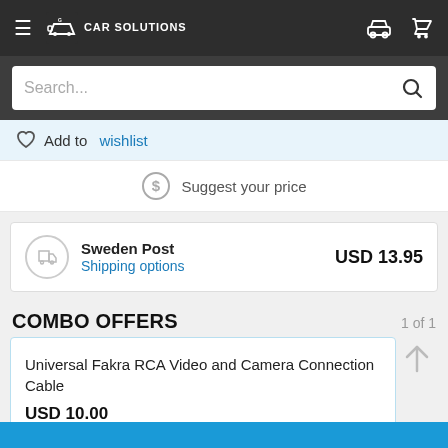Car Solutions — navigation bar with hamburger menu, logo, car icon, cart icon
Search...
Add to wishlist
Suggest your price
Sweden Post
Shipping options
USD 13.95
COMBO OFFERS
1 of 1
Universal Fakra RCA Video and Camera Connection Cable
USD 10.00